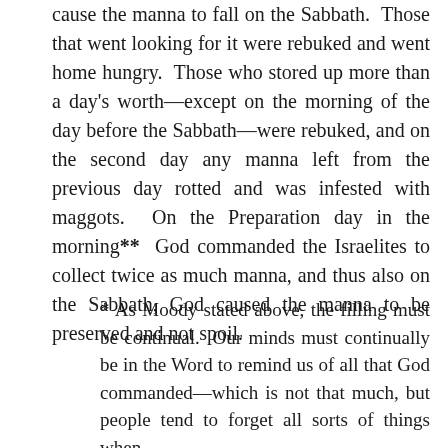cause the manna to fall on the Sabbath. Those that went looking for it were rebuked and went home hungry. Those who stored up more than a day's worth—except on the morning of the day before the Sabbath—were rebuked, and on the second day any manna left from the previous day rotted and was infested with maggots. On the Preparation day in the morning** God commanded the Israelites to collect twice as much manna, and thus also on the Sabbath, God caused the manna to be preserved and not spoil.
* As Moody stated above, the filling must be continual. Our minds must continually be in the Word to remind us of all that God commanded—which is not that much, but people tend to forget all sorts of things when